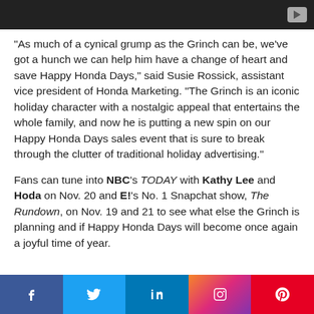[Figure (screenshot): Dark video player bar at top with play button icon on right]
"As much of a cynical grump as the Grinch can be, we've got a hunch we can help him have a change of heart and save Happy Honda Days," said Susie Rossick, assistant vice president of Honda Marketing. "The Grinch is an iconic holiday character with a nostalgic appeal that entertains the whole family, and now he is putting a new spin on our Happy Honda Days sales event that is sure to break through the clutter of traditional holiday advertising."
Fans can tune into NBC's TODAY with Kathy Lee and Hoda on Nov. 20 and E!'s No. 1 Snapchat show, The Rundown, on Nov. 19 and 21 to see what else the Grinch is planning and if Happy Honda Days will become once again a joyful time of year.
[Figure (other): Social media sharing bar with Facebook, Twitter, LinkedIn, Instagram, and Pinterest icons]